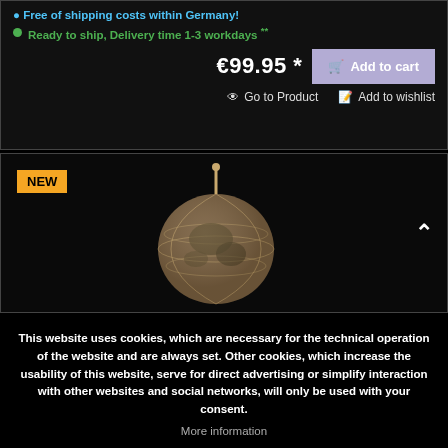Free of shipping costs within Germany!
Ready to ship, Delivery time 1-3 workdays **
€99.95 *
Add to cart
Go to Product
Add to wishlist
[Figure (photo): Antique globe on dark background with NEW badge]
This website uses cookies, which are necessary for the technical operation of the website and are always set. Other cookies, which increase the usability of this website, serve for direct advertising or simplify interaction with other websites and social networks, will only be used with your consent.
More information
Decline
Accept all
Configure